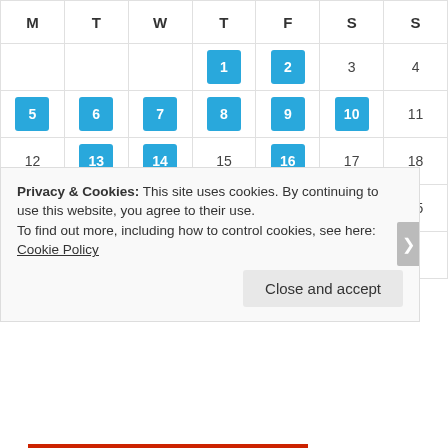| M | T | W | T | F | S | S |
| --- | --- | --- | --- | --- | --- | --- |
|  |  |  | 1 | 2 | 3 | 4 |
| 5 | 6 | 7 | 8 | 9 | 10 | 11 |
| 12 | 13 | 14 | 15 | 16 | 17 | 18 |
| 19 | 20 | 21 | 22 | 23 | 24 | 25 |
| 26 | 27 | 28 |  |  |  |  |
« Jan   Mar »
Privacy & Cookies: This site uses cookies. By continuing to use this website, you agree to their use.
To find out more, including how to control cookies, see here: Cookie Policy
Close and accept